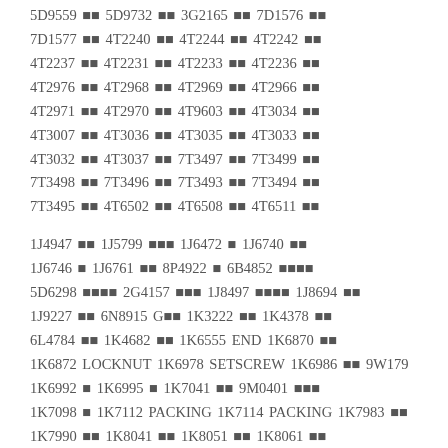5D9559 □□ 5D9732 □□ 3G2165 □□ 7D1576 □□ 7D1577 □□ 4T2240 □□ 4T2244 □□ 4T2242 □□ 4T2237 □□ 4T2231 □□ 4T2233 □□ 4T2236 □□ 4T2976 □□ 4T2968 □□ 4T2969 □□ 4T2966 □□ 4T2971 □□ 4T2970 □□ 4T9603 □□ 4T3034 □□ 4T3007 □□ 4T3036 □□ 4T3035 □□ 4T3033 □□ 4T3032 □□ 4T3037 □□ 7T3497 □□ 7T3499 □□ 7T3498 □□ 7T3496 □□ 7T3493 □□ 7T3494 □□ 7T3495 □□ 4T6502 □□ 4T6508 □□ 4T6511 □□
1J4947 □□ 1J5799 □□□ 1J6472 □ 1J6740 □□ 1J6746 □ 1J6761 □□ 8P4922 □ 6B4852 □□□□ 5D6298 □□□□ 2G4157 □□□ 1J8497 □□□□ 1J8694 □□ 1J9227 □□ 6N8915 G□□ 1K3222 □□ 1K4378 □□ 6L4784 □□ 1K4682 □□ 1K6555 END 1K6870 □□ 1K6872 LOCKNUT 1K6978 SETSCREW 1K6986 □□ 9W179 1K6992 □ 1K6995 □ 1K7041 □□ 9M0401 □□□ 1K7098 □ 1K7112 PACKING 1K7114 PACKING 1K7983 □□ 1K7990 □□ 1K8041 □□ 1K8051 □□ 1K8061 □□